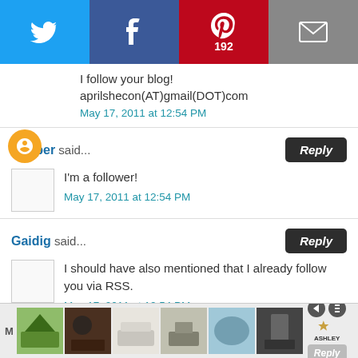[Figure (other): Social sharing bar with Twitter, Facebook, Pinterest (192 shares), and Email buttons]
I follow your blog!
aprilshecon(AT)gmail(DOT)com
May 17, 2011 at 12:54 PM
zzipper said...
I'm a follower!
May 17, 2011 at 12:54 PM
Gaidig said...
I should have also mentioned that I already follow you via RSS.
May 17, 2011 at 12:54 PM
[Figure (other): Ashley Furniture advertisement banner with furniture images and Reply button]